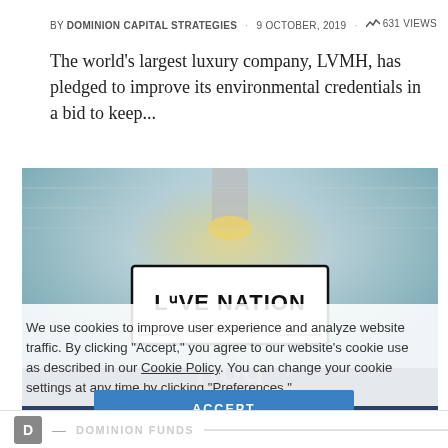BY DOMINION CAPITAL STRATEGIES · 9 OCTOBER, 2019 · 631 VIEWS
The world's largest luxury company, LVMH, has pledged to improve its environmental credentials in a bid to keep...
[Figure (photo): Concert venue photo with Live Nation Finland logo overlay and hög branding semi-transparent overlay]
We use cookies to improve user experience and analyze website traffic. By clicking "Accept," you agree to our website's cookie use as described in our Cookie Policy. You can change your cookie settings at any time by clicking "Preferences."
ACCEPT
D — DOMINION FUNDS